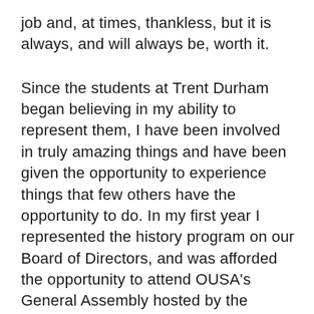job and, at times, thankless, but it is always, and will always be, worth it.
Since the students at Trent Durham began believing in my ability to represent them, I have been involved in truly amazing things and have been given the opportunity to experience things that few others have the opportunity to do. In my first year I represented the history program on our Board of Directors, and was afforded the opportunity to attend OUSA’s General Assembly hosted by the University Students’ Council at Western University. During that time, I got to experience another university and city, as